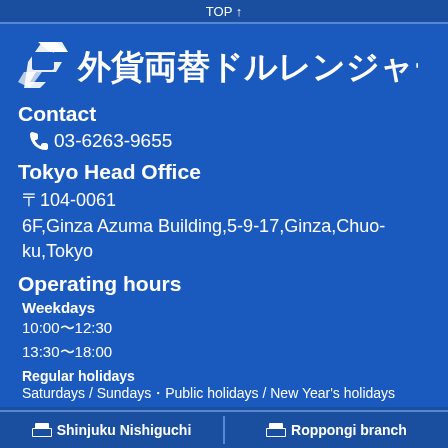TOP ↑
[Figure (logo): 外貨両替ドルレンジャー company logo with stylized icon and Japanese text]
Contact
03-6263-9655
Tokyo Head Office
〒104-0061
6F,Ginza Azuma Building,5-9-17,Ginza,Chuo-ku,Tokyo
Operating hours
Weekdays
10:00〜12:30
13:30〜18:00
Regular holidays
Saturdays / Sundays・Public holidays / New Year's holidays
Shinjuku Nishiguchi   Roppongi branch